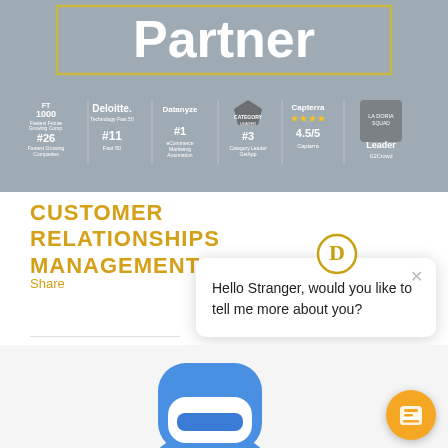[Figure (screenshot): Screenshot showing 'Partner' text in white on grey background with a golden border, and a row of award badges below: FT 1000 Fastest Growing Companies #426, Deloitte #11 Fast 50, Datanyze #1 eCommerce Marketing Automation, GetApp #3 Category Leader, Capterra 4.5/5 stars, G2Crowd Leader]
CUSTOMER RELATIONSHIPS MANAGEMENT
Share
[Figure (screenshot): Chat popup dialog with Disqus icon at top, close X button, and message: 'Hello Stranger, would you like to tell me more about you?']
[Figure (illustration): Blue robot/bot character illustration (head and shoulders visible) and a yellow chat FAB button in bottom right corner]